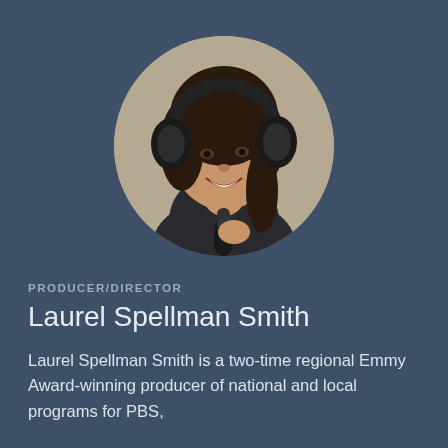[Figure (photo): Circular headshot photo of Laurel Spellman Smith, a woman with dark hair wearing large black headphones and holding a microphone, smiling, against a beige/tan background.]
PRODUCER/DIRECTOR
Laurel Spellman Smith
Laurel Spellman Smith is a two-time regional Emmy Award-winning producer of national and local programs for PBS, including The NewsHour with Jim Lehrer and